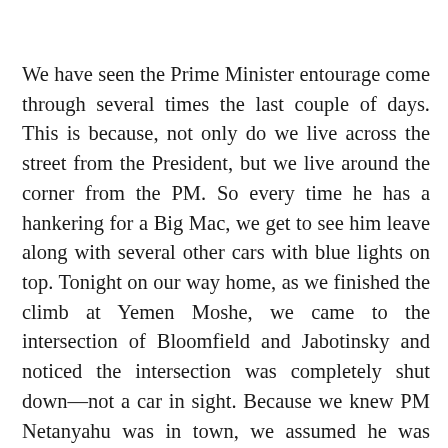We have seen the Prime Minister entourage come through several times the last couple of days. This is because, not only do we live across the street from the President, but we live around the corner from the PM. So every time he has a hankering for a Big Mac, we get to see him leave along with several other cars with blue lights on top. Tonight on our way home, as we finished the climb at Yemen Moshe, we came to the intersection of Bloomfield and Jabotinsky and noticed the intersection was completely shut down—not a car in sight. Because we knew PM Netanyahu was in town, we assumed he was about to pass through. Sure enough we could hear the sirens and the loud speaker. They were speaking Hebrew so I can't tell you what they were saying. Regardless, it was cool. We were pulling a suitcase full of clean clothes which we had just washed at Eric's school. I was paranoid that someone would be curious about the big bag and why we decided to sit down just as the PM was coming through. Fortunately, no one seemed to care and we tried to get pictures but as you can see they really aren't that